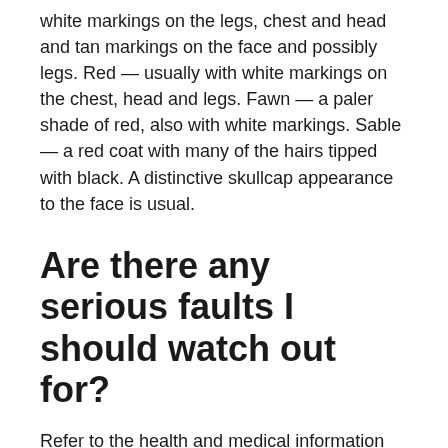white markings on the legs, chest and head and tan markings on the face and possibly legs. Red — usually with white markings on the chest, head and legs. Fawn — a paler shade of red, also with white markings. Sable — a red coat with many of the hairs tipped with black. A distinctive skullcap appearance to the face is usual.
Are there any serious faults I should watch out for?
Refer to the health and medical information section for possible genetic disease. Monorchid/Cryptorchid — a condition where one or both testicles fail to descend into the